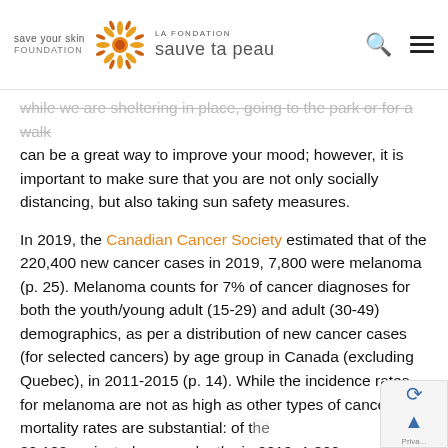Save Your Skin Foundation | La Fondation Sauve ta Peau
While we are sheltering in place, going to the park or for a walk can be a great way to improve your mood; however, it is important to make sure that you are not only socially distancing, but also taking sun safety measures.
In 2019, the Canadian Cancer Society estimated that of the 220,400 new cancer cases in 2019, 7,800 were melanoma (p. 25). Melanoma counts for 7% of cancer diagnoses for both the youth/young adult (15-29) and adult (30-49) demographics, as per a distribution of new cancer cases (for selected cancers) by age group in Canada (excluding Quebec), in 2011-2015 (p. 14). While the incidence rates for melanoma are not as high as other types of cancer, the mortality rates are substantial: of the 82,100 projected cancer deaths in 2019, 1,300 are expected to be due to melanoma (p. 47). Therefore, it is important to be...